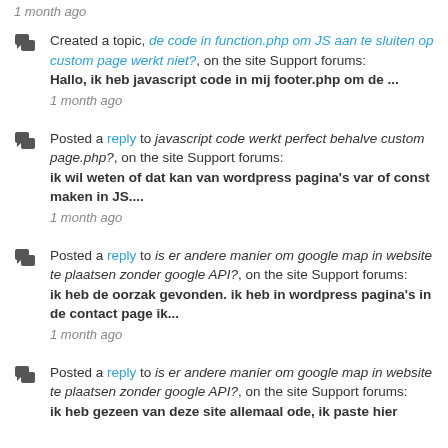1 month ago
Created a topic, de code in function.php om JS aan te sluiten op custom page werkt niet?, on the site Support forums:
Hallo, ik heb javascript code in mij footer.php om de ...
1 month ago
Posted a reply to javascript code werkt perfect behalve custom page.php?, on the site Support forums:
ik wil weten of dat kan van wordpress pagina's var of const maken in JS....
1 month ago
Posted a reply to is er andere manier om google map in website te plaatsen zonder google API?, on the site Support forums:
ik heb de oorzak gevonden. ik heb in wordpress pagina's in de contact page ik...
1 month ago
Posted a reply to is er andere manier om google map in website te plaatsen zonder google API?, on the site Support forums:
ik heb gezeen van deze site allemaal ode, ik paste hier